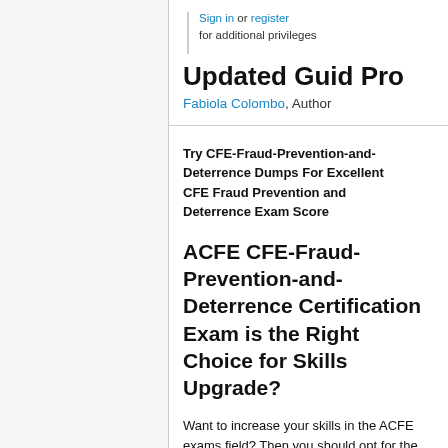Sign in or register for additional privileges
Updated Guid Pro
Fabiola Colombo, Author
Try CFE-Fraud-Prevention-and-Deterrence Dumps For Excellent CFE Fraud Prevention and Deterrence Exam Score
ACFE CFE-Fraud-Prevention-and-Deterrence Certification Exam is the Right Choice for Skills Upgrade?
Want to increase your skills in the ACFE exams field? Then you should opt for the ACFE CFE-Fraud-